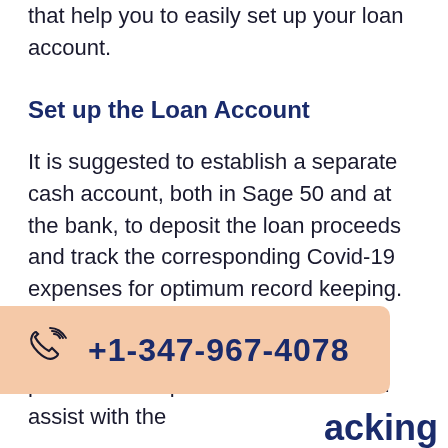up. Just follow the mentioned processes that help you to easily set up your loan account.
Set up the Loan Account
It is suggested to establish a separate cash account, both in Sage 50 and at the bank, to deposit the loan proceeds and track the corresponding Covid-19 expenses for optimum record keeping. A separate account is more audit-friendly, stops funds flowing in, and provides a simple audit trail. This can assist with the
+1-347-967-4078
acking